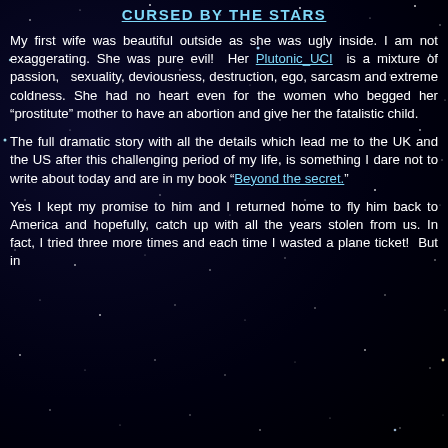CURSED BY THE STARS
My first wife was beautiful outside as she was ugly inside. I am not exaggerating. She was pure evil! Her Plutonic UCI is a mixture of passion, sexuality, deviousness, destruction, ego, sarcasm and extreme coldness. She had no heart even for the women who begged her “prostitute” mother to have an abortion and give her the fatalistic child.
The full dramatic story with all the details which lead me to the UK and the US after this challenging period of my life, is something I dare not to write about today and are in my book “Beyond the secret.”
Yes I kept my promise to him and I returned home to fly him back to America and hopefully, catch up with all the years stolen from us. In fact, I tried three more times and each time I wasted a plane ticket! But in